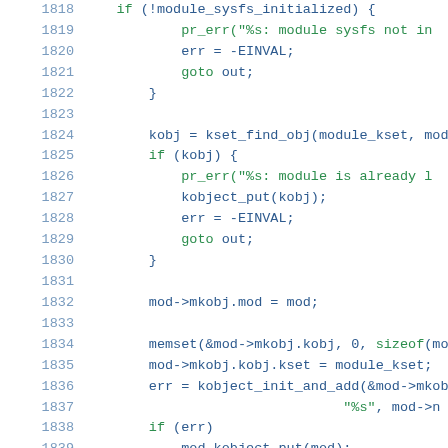[Figure (screenshot): Source code listing showing C kernel module initialization code, lines 1818-1839, with line numbers in blue and code in dark blue/green syntax highlighting.]